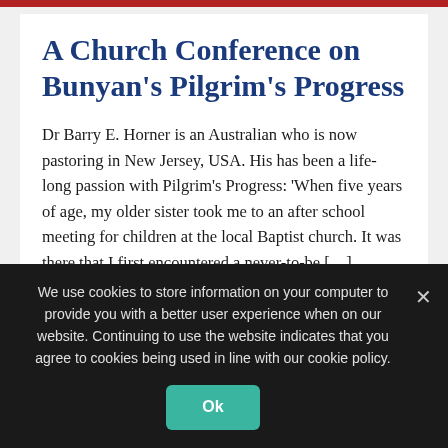A Church Conference on Bunyan's Pilgrim's Progress
Dr Barry E. Horner is an Australian who is now pastoring in New Jersey, USA. His has been a life-long passion with Pilgrim's Progress: 'When five years of age, my older sister took me to an after school meeting for children at the local Baptist church. It was there that I first encountered a never-to-be [...]
AUTHOR Thomas, Geoff CATEGORY Articles
We use cookies to store information on your computer to provide you with a better user experience when on our website. Continuing to use the website indicates that you agree to cookies being used in line with our cookie policy.